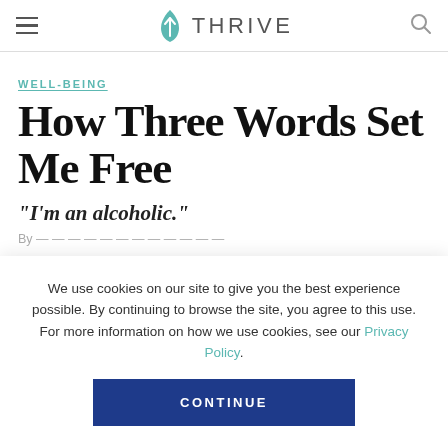THRIVE
WELL-BEING
How Three Words Set Me Free
"I'm an alcoholic."
By...
We use cookies on our site to give you the best experience possible. By continuing to browse the site, you agree to this use. For more information on how we use cookies, see our Privacy Policy.
CONTINUE